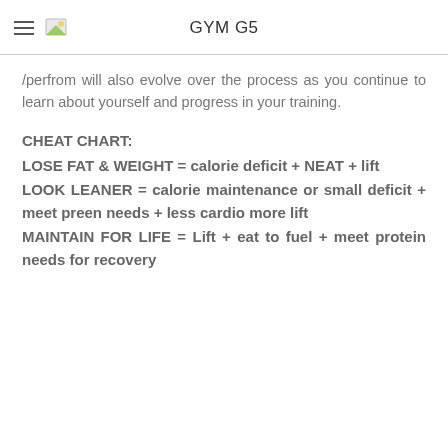GYM G5
/perfrom will also evolve over the process as you continue to learn about yourself and progress in your training.
CHEAT CHART:
LOSE FAT & WEIGHT = calorie deficit + NEAT + lift
LOOK LEANER = calorie maintenance or small deficit + meet preen needs + less cardio more lift
MAINTAIN FOR LIFE = Lift + eat to fuel + meet protein needs for recovery